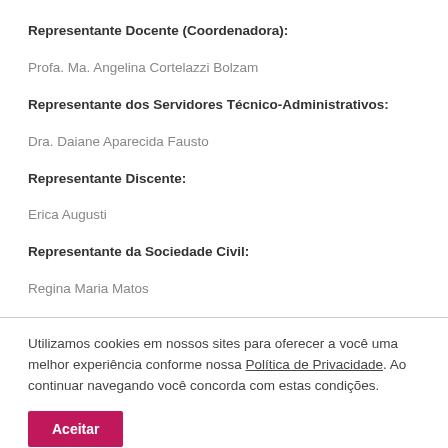Representante Docente (Coordenadora):
Profa. Ma. Angelina Cortelazzi Bolzam
Representante dos Servidores Técnico-Administrativos:
Dra. Daiane Aparecida Fausto
Representante Discente:
Erica Augusti
Representante da Sociedade Civil:
Regina Maria Matos
Utilizamos cookies em nossos sites para oferecer a você uma melhor experiência conforme nossa Política de Privacidade. Ao continuar navegando você concorda com estas condições.
Aceitar